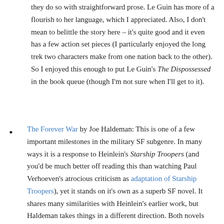they do so with straightforward prose. Le Guin has more of a flourish to her language, which I appreciated. Also, I don't mean to belittle the story here – it's quite good and it even has a few action set pieces (I particularly enjoyed the long trek two characters make from one nation back to the other). So I enjoyed this enough to put Le Guin's The Dispossessed in the book queue (though I'm not sure when I'll get to it).
The Forever War by Joe Haldeman: This is one of a few important milestones in the military SF subgenre. In many ways it is a response to Heinlein's Starship Troopers (and you'd be much better off reading this than watching Paul Verhoeven's atrocious criticism as adaptation of Starship Troopers), yet it stands on it's own as a superb SF novel. It shares many similarities with Heinlein's earlier work, but Haldeman takes things in a different direction. Both novels follow a young recruit (in Starship – a volunteer, in Forever an educated student drafted into compulsory service) as